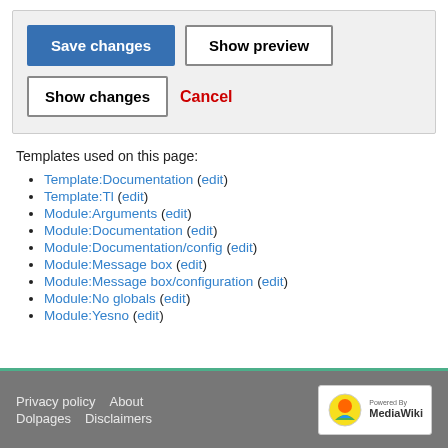[Figure (screenshot): UI panel with Save changes (blue button), Show preview (white button), Show changes (white button), and Cancel (red link) buttons]
Templates used on this page:
Template:Documentation (edit)
Template:Tl (edit)
Module:Arguments (edit)
Module:Documentation (edit)
Module:Documentation/config (edit)
Module:Message box (edit)
Module:Message box/configuration (edit)
Module:No globals (edit)
Module:Yesno (edit)
Privacy policy   About   Dolpages   Disclaimers   Powered by MediaWiki